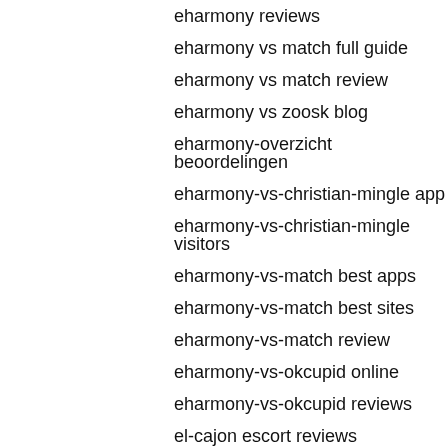eharmony reviews
eharmony vs match full guide
eharmony vs match review
eharmony vs zoosk blog
eharmony-overzicht beoordelingen
eharmony-vs-christian-mingle app
eharmony-vs-christian-mingle visitors
eharmony-vs-match best apps
eharmony-vs-match best sites
eharmony-vs-match review
eharmony-vs-okcupid online
eharmony-vs-okcupid reviews
el-cajon escort reviews
el-cajon escort services
el-monte escort service companies
el-paso escort near me
el-paso escort services
elgin escort index